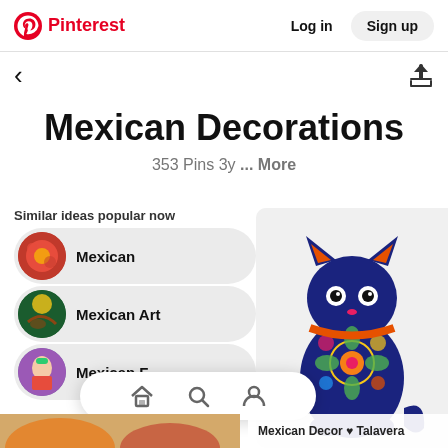Pinterest — Log in | Sign up
Mexican Decorations
353 Pins 3y ... More
Similar ideas popular now
Mexican
Mexican Art
Mexican F…
[Figure (photo): Colorful Talavera ceramic cat figurine with multicolor floral decorations]
Mexican Decor ♥ Talavera